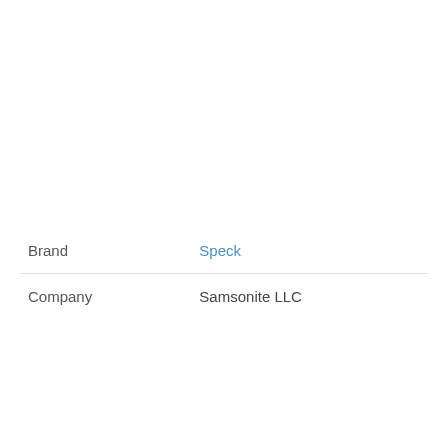|  |  |
| --- | --- |
| Brand | Speck |
| Company | Samsonite LLC |